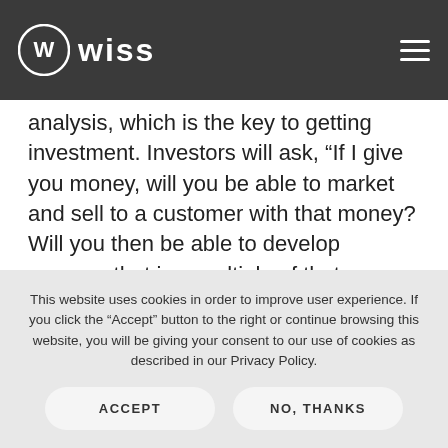Wiss
analysis, which is the key to getting investment. Investors will ask, “If I give you money, will you be able to market and sell to a customer with that money? Will you then be able to develop revenue that is a multiple of that investment in sales and marketing, and then have margin associated with it?” If your answer is a solid and evidence-based “yes,” then you’ll be good to go.
This website uses cookies in order to improve user experience. If you click the “Accept” button to the right or continue browsing this website, you will be giving your consent to our use of cookies as described in our Privacy Policy.
ACCEPT
NO, THANKS